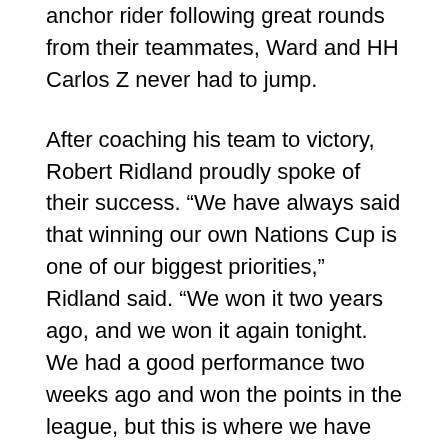anchor rider following great rounds from their teammates, Ward and HH Carlos Z never had to jump.
After coaching his team to victory, Robert Ridland proudly spoke of their success. “We have always said that winning our own Nations Cup is one of our biggest priorities,” Ridland said. “We won it two years ago, and we won it again tonight. We had a good performance two weeks ago and won the points in the league, but this is where we have had a Nations Cup with longstanding tradition and great crowds. What was really gratifying was to do these relatively back-to-back Nations Cups with eight different riders and eight different horses. We saw the depth of our team out there, and that is what we are trying to go for in the future. I could not be happier.”
Commenting on the team’s lead throughout the competition,